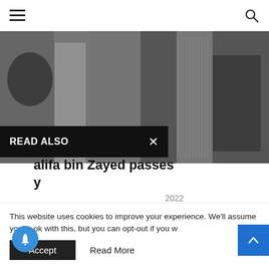Navigation header with hamburger menu and search icon
[Figure (photo): Two black and white photos side by side showing dark jackets/fabric close-up]
READ ALSO ×
alifa bin Zayed passes y
2022
[Figure (other): Four carousel dots]
MMENT
This website uses cookies to improve your experience. We'll assume you're ok with this, but you can opt-out if you w
Accept  Read More